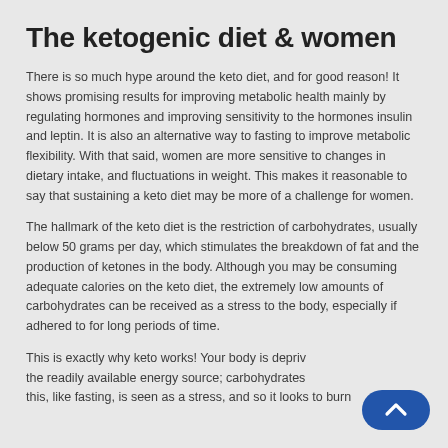The ketogenic diet & women
There is so much hype around the keto diet, and for good reason! It shows promising results for improving metabolic health mainly by regulating hormones and improving sensitivity to the hormones insulin and leptin. It is also an alternative way to fasting to improve metabolic flexibility. With that said, women are more sensitive to changes in dietary intake, and fluctuations in weight. This makes it reasonable to say that sustaining a keto diet may be more of a challenge for women.
The hallmark of the keto diet is the restriction of carbohydrates, usually below 50 grams per day, which stimulates the breakdown of fat and the production of ketones in the body. Although you may be consuming adequate calories on the keto diet, the extremely low amounts of carbohydrates can be received as a stress to the body, especially if adhered to for long periods of time.
This is exactly why keto works! Your body is deprived of the readily available energy source; carbohydrates, and this, like fasting, is seen as a stress, and so it looks to burn